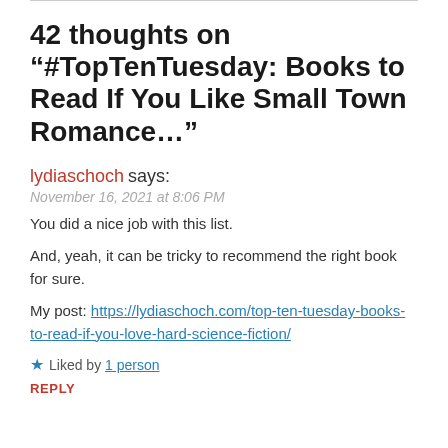42 thoughts on “#TopTenTuesday: Books to Read If You Like Small Town Romance…”
lydiaschoch says:
November 16, 2021 at 8:06 PM
You did a nice job with this list.
And, yeah, it can be tricky to recommend the right book for sure.
My post: https://lydiaschoch.com/top-ten-tuesday-books-to-read-if-you-love-hard-science-fiction/
★ Liked by 1 person
REPLY